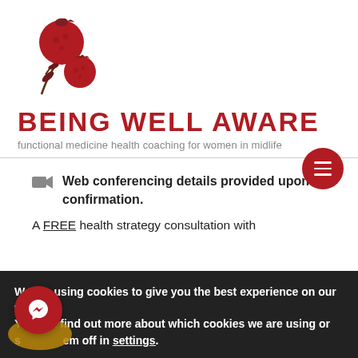[Figure (logo): Being Well Aware logo: two red pomegranates on a branch]
BEING WELL AWARE
functional medicine health coaching for women in midlife
Web conferencing details provided upon confirmation.
A FREE health strategy consultation with
We are using cookies to give you the best experience on our website.
You can find out more about which cookies we are using or switch them off in settings.